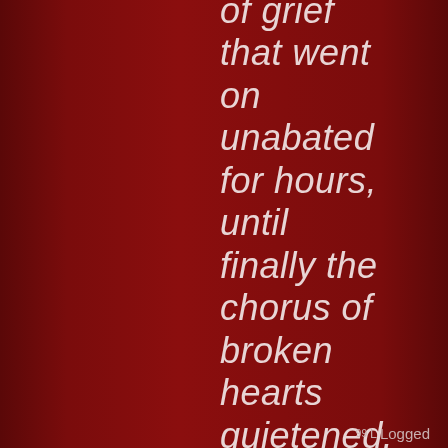of grief that went on unabated for hours, until finally the chorus of broken hearts quietened.
Logged